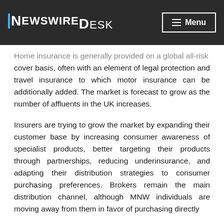NewswireDesk — Menu
Home insurance is generally provided on a global all-risk cover basis, often with an element of legal protection and travel insurance to which motor insurance can be additionally added. The market is forecast to grow as the number of affluents in the UK increases.
Insurers are trying to grow the market by expanding their customer base by increasing consumer awareness of specialist products, better targeting their products through partnerships, reducing underinsurance, and adapting their distribution strategies to consumer purchasing preferences. Brokers remain the main distribution channel, although MNW individuals are moving away from them in favor of purchasing directly